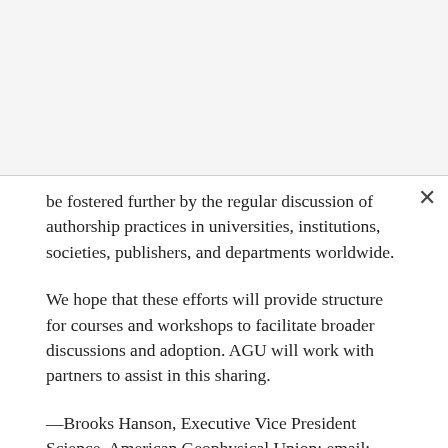be fostered further by the regular discussion of authorship practices in universities, institutions, societies, publishers, and departments worldwide.
We hope that these efforts will provide structure for courses and workshops to facilitate broader discussions and adoption. AGU will work with partners to assist in this sharing.
—Brooks Hanson, Executive Vice President Science, American Geophysical Union; email: bhanson@agu.org; and Susan Webb, International Secretary, American Geophysical Union, and University of the Witwatersrand, South Africa